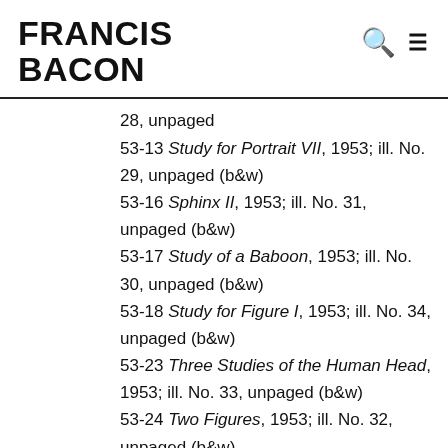FRANCIS BACON
28, unpaged
53-13 Study for Portrait VII, 1953; ill. No. 29, unpaged (b&w)
53-16 Sphinx II, 1953; ill. No. 31, unpaged (b&w)
53-17 Study of a Baboon, 1953; ill. No. 30, unpaged (b&w)
53-18 Study for Figure I, 1953; ill. No. 34, unpaged (b&w)
53-23 Three Studies of the Human Head, 1953; ill. No. 33, unpaged (b&w)
53-24 Two Figures, 1953; ill. No. 32, unpaged (b&w)
54-01 Two Figures in the Grass,